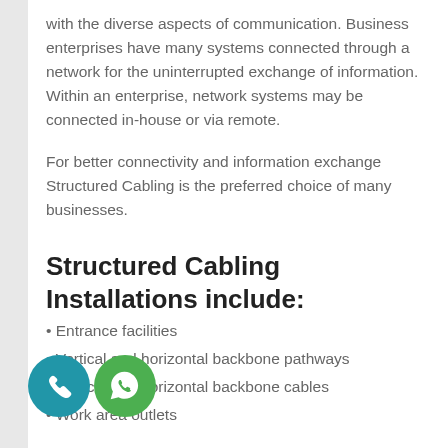with the diverse aspects of communication. Business enterprises have many systems connected through a network for the uninterrupted exchange of information. Within an enterprise, network systems may be connected in-house or via remote.
For better connectivity and information exchange Structured Cabling is the preferred choice of many businesses.
Structured Cabling Installations include:
• Entrance facilities
• Vertical and horizontal backbone pathways
• Vertical and horizontal backbone cables
• Work area outlets